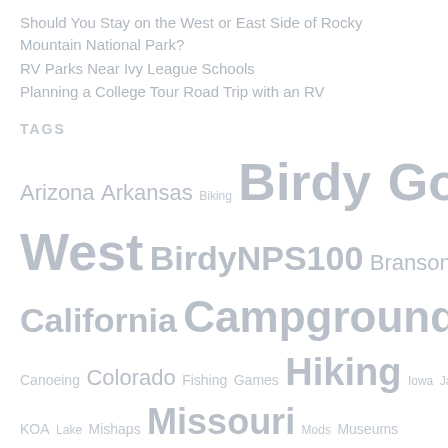Should You Stay on the West or East Side of Rocky Mountain National Park?
RV Parks Near Ivy League Schools
Planning a College Tour Road Trip with an RV
TAGS
Arizona Arkansas Biking Birdy Goes West BirdyNPS100 Branson California Campground review canada Canoeing Colorado Fishing Games Hiking Iowa Jayco KOA Lake Mishaps Missouri Mods Museums National parks Nebraska New Mexico New York Private